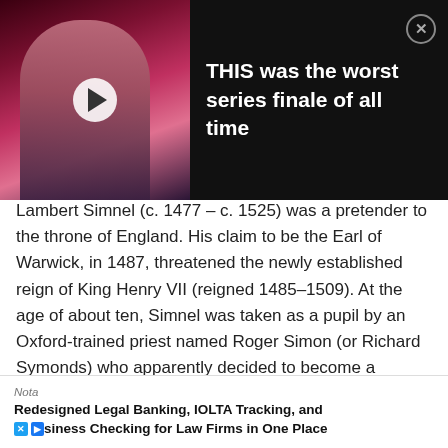[Figure (screenshot): Video thumbnail showing a person's face against a pink/dark background, with a play button in the center]
THIS was the worst series finale of all time
Lambert Simnel (c. 1477 – c. 1525) was a pretender to the throne of England. His claim to be the Earl of Warwick, in 1487, threatened the newly established reign of King Henry VII (reigned 1485–1509). At the age of about ten, Simnel was taken as a pupil by an Oxford-trained priest named Roger Simon (or Richard Symonds) who apparently decided to become a kingmaker. He tutored the boy in courtly manners, and contemporaries described the boy as handsome. He was taught the necessary etiquettes and was educated well by Symonds. Simon noticed a striking resemblance between Lambert and the supposedly murdered sons of Edward IV, so he initially intend... son of King... es in
Nota
Redesigned Legal Banking, IOLTA Tracking, and Business Checking for Law Firms in One Place